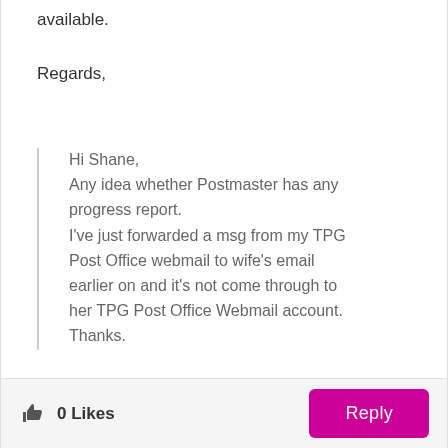available.
Regards,
Hi Shane,
Any idea whether Postmaster has any progress report.
I've just forwarded a msg from my TPG Post Office webmail to wife's email earlier on and it's not come through to her TPG Post Office Webmail account.
Thanks.
0 Likes
Reply